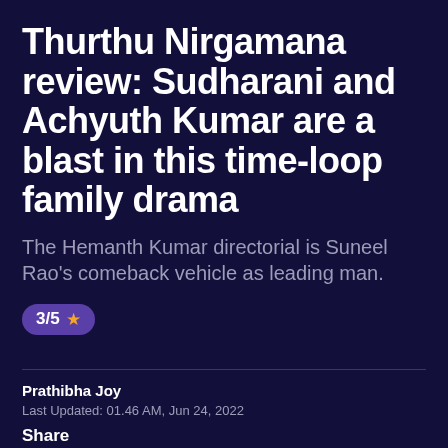Thurthu Nirgamana review: Sudharani and Achyuth Kumar are a blast in this time-loop family drama
The Hemanth Kumar directorial is Suneel Rao's comeback vehicle as leading man.
3/5 ★
Prathibha Joy
Last Updated: 01.46 AM, Jun 24, 2022
Share